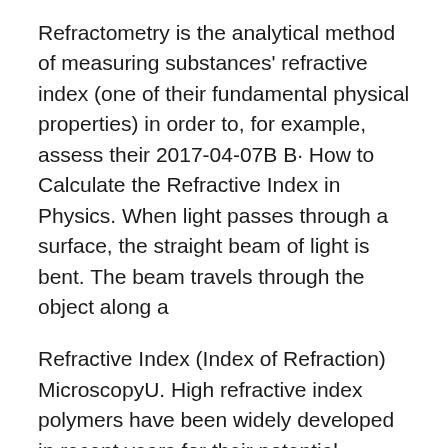Refractometry is the analytical method of measuring substances' refractive index (one of their fundamental physical properties) in order to, for example, assess their 2017-04-07B B· How to Calculate the Refractive Index in Physics. When light passes through a surface, the straight beam of light is bent. The beam travels through the object along a
Refractive Index (Index of Refraction) MicroscopyU. High refractive index polymers have been widely developed in recent years for their potential applications in advanced optoelectronic fabrications, such as high, Application of refractometers and The